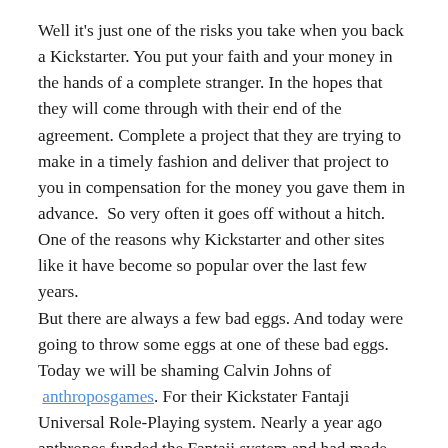Well it's just one of the risks you take when you back a Kickstarter. You put your faith and your money in the hands of a complete stranger. In the hopes that they will come through with their end of the agreement. Complete a project that they are trying to make in a timely fashion and deliver that project to you in compensation for the money you gave them in advance.  So very often it goes off without a hitch. One of the reasons why Kickstarter and other sites like it have become so popular over the last few years.
But there are always a few bad eggs. And today were going to throw some eggs at one of these bad eggs. Today we will be shaming Calvin Johns of  anthroposgames. For their Kickstater Fantaji Universal Role-Playing system. Nearly a year ago anthropos funded the Fantaji system and had made several of their stretch goals. With many completed project items in hand and some digital material already available it seems a sure bet that the company that had launched their firs RPG through